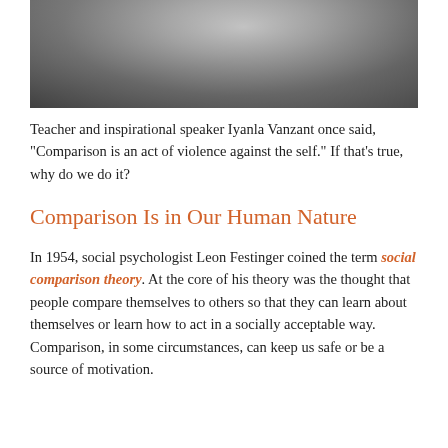[Figure (photo): Black and white photograph of a person, cropped to show upper body, partially visible at top of page]
Teacher and inspirational speaker Iyanla Vanzant once said, “Comparison is an act of violence against the self.” If that’s true, why do we do it?
Comparison Is in Our Human Nature
In 1954, social psychologist Leon Festinger coined the term social comparison theory. At the core of his theory was the thought that people compare themselves to others so that they can learn about themselves or learn how to act in a socially acceptable way. Comparison, in some circumstances, can keep us safe or be a source of motivation.